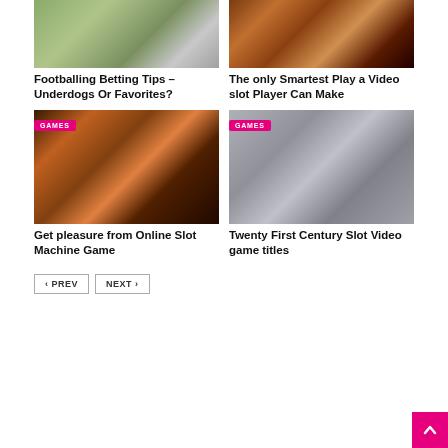[Figure (photo): Horse racing photo - jockey on grey horse]
[Figure (photo): Roulette wheel close-up]
Footballing Betting Tips – Underdogs Or Favorites?
The only Smartest Play a Video slot Player Can Make
[Figure (photo): Casino slot machines with GAMES badge]
[Figure (photo): Casino lucky 7 slot symbol with GAMES badge]
Get pleasure from Online Slot Machine Game
Twenty First Century Slot Video game titles
PREV  NEXT